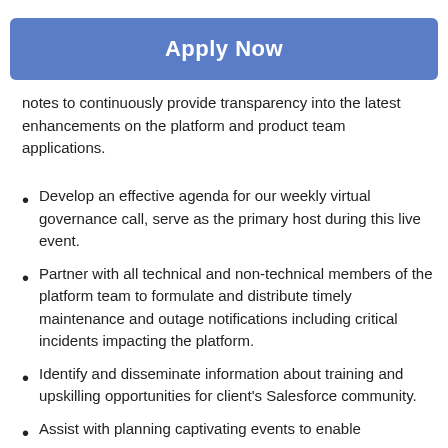[Figure (other): Apply Now button — blue rounded rectangle with white bold text]
notes to continuously provide transparency into the latest enhancements on the platform and product team applications.
Develop an effective agenda for our weekly virtual governance call, serve as the primary host during this live event.
Partner with all technical and non-technical members of the platform team to formulate and distribute timely maintenance and outage notifications including critical incidents impacting the platform.
Identify and disseminate information about training and upskilling opportunities for client's Salesforce community.
Assist with planning captivating events to enable